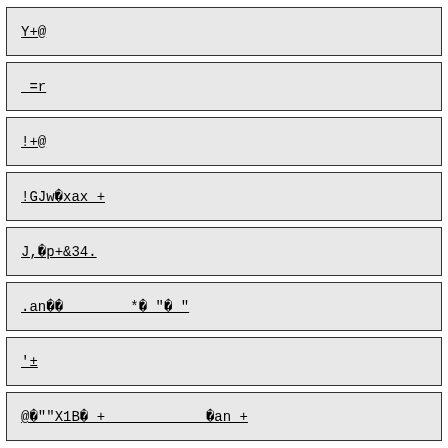Y+@
_=r
!+@
!GJw xax +
J, p+&34.
.an          * " "
'+
@ ""X1B +             an +